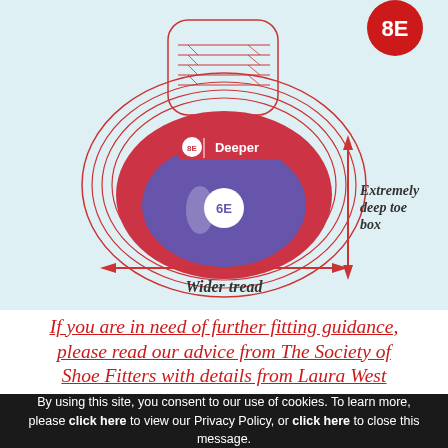[Figure (schematic): Cross-section diagram of a shoe toe box showing width grades. A red circular badge labeled '8E' appears top-right. The shoe outline is in red/pink. Inside is a red region labeled '8E | Deeper' at the top, and a purple region labeled '6E' in the center. A double-headed vertical arrow on the right is labeled 'Extremely deep toe box'. A horizontal double-headed arrow at the bottom is labeled 'Wider tread'.]
If you are in need of further fitting guidance, please read our advice from The Society of Shoe Fitters with details from Laura West
By using this site, you consent to our use of cookies. To learn more, please click here to view our Privacy Policy, or click here to close this message.